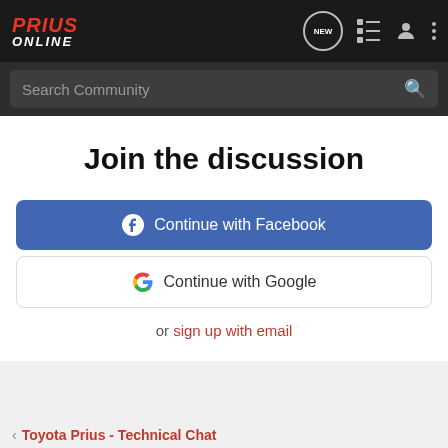Prius Online
Search Community
Join the discussion
Continue with Facebook
Continue with Google
or sign up with email
< Toyota Prius - Technical Chat
[Figure (screenshot): Staples advertisement banner: THIS IS YOUR SIGN, 25% off signs, banners or posters when you spend $75 or more. Get started button.]
Home